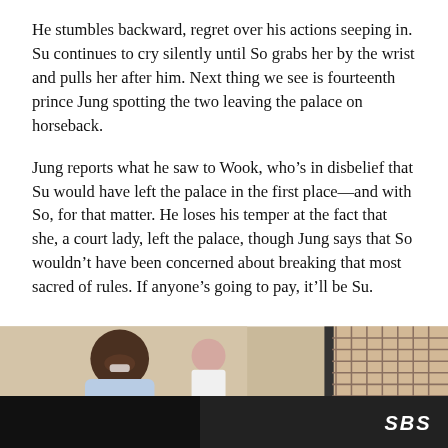He stumbles backward, regret over his actions seeping in. Su continues to cry silently until So grabs her by the wrist and pulls her after him. Next thing we see is fourteenth prince Jung spotting the two leaving the palace on horseback.
Jung reports what he saw to Wook, who’s in disbelief that Su would have left the palace in the first place—and with So, for that matter. He loses his temper at the fact that she, a court lady, left the palace, though Jung says that So wouldn’t have been concerned about breaking that most sacred of rules. If anyone’s going to pay, it’ll be Su.
[Figure (photo): A photo showing a smiling bald Black man in a light blue shirt in the foreground, a woman in white behind him, and a decorative latticed window on the right side.]
[Figure (photo): A dark-toned image at the bottom of the page with an SBS logo in the lower right corner.]